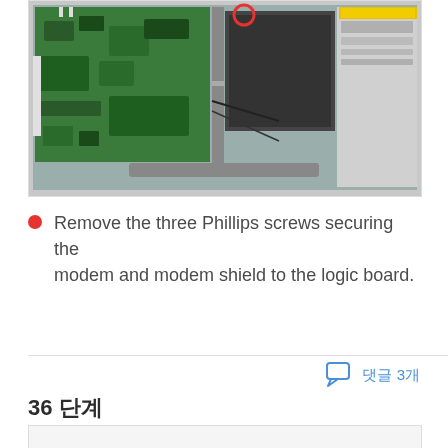[Figure (photo): Interior of a laptop showing green circuit board (logic board) on the left, a central metal bracket/drive bay area, and a silver hard drive or optical drive on the right. A red circle highlights a screw location near the top center.]
Remove the three Phillips screws securing the modem and modem shield to the logic board.
댓글 3개
36 단계
[Figure (photo): Partial view of next step photo (cropped at bottom of page).]